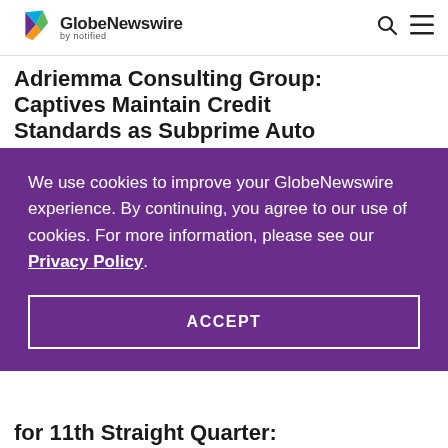GlobeNewswire by notified
Adriemma Consulting Group: Captives Maintain Credit Standards as Subprime Auto
We use cookies to improve your GlobeNewswire experience. By continuing, you agree to our use of cookies. For more information, please see our Privacy Policy.
ACCEPT
for 11th Straight Quarter: